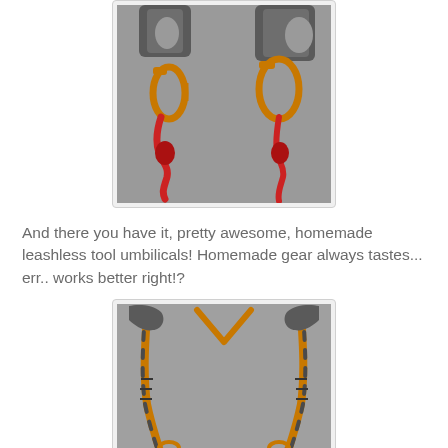[Figure (photo): Close-up photo of two ice climbing tools with orange carabiners and red paracord umbilicals attached, laid on a gray carpet background.]
And there you have it, pretty awesome, homemade leashless tool umbilicals! Homemade gear always tastes... err.. works better right!?
[Figure (photo): Photo of two ice climbing tools arranged symmetrically with orange handles and carabiners, red and blue paracord umbilicals, on a gray carpet background.]